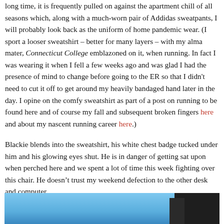long time, it is frequently pulled on against the apartment chill of all seasons which, along with a much-worn pair of Addidas sweatpants, I will probably look back as the uniform of home pandemic wear. (I sport a looser sweatshirt – better for many layers – with my alma mater, Connecticut College emblazoned on it, when running. In fact I was wearing it when I fell a few weeks ago and was glad I had the presence of mind to change before going to the ER so that I didn't need to cut it off to get around my heavily bandaged hand later in the day. I opine on the comfy sweatshirt as part of a post on running to be found here and of course my fall and subsequent broken fingers here and about my nascent running career here.)
Blackie blends into the sweatshirt, his white chest badge tucked under him and his glowing eyes shut. He is in danger of getting sat upon when perched here and we spent a lot of time this week fighting over this chair. He doesn't trust my weekend defection to the other desk and computer.
[Figure (photo): Partial photo visible at bottom of page showing a blue sky or surface with a dark object on the right side.]